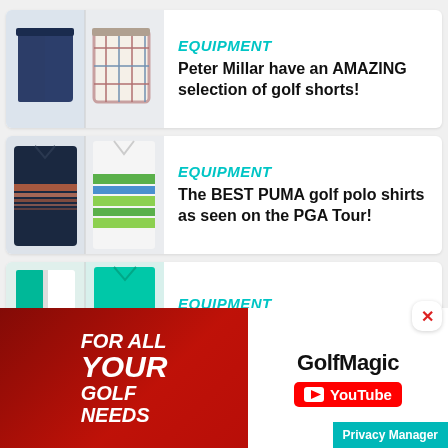[Figure (photo): Card with two golf shorts images - navy blue shorts and plaid shorts]
EQUIPMENT
Peter Millar have an AMAZING selection of golf shorts!
[Figure (photo): Card with two golf polo shirt images - dark striped polo and white/green striped polo]
EQUIPMENT
The BEST PUMA golf polo shirts as seen on the PGA Tour!
[Figure (photo): Card with two Nike golf shirt images - teal/white jacket and teal shirt]
EQUIPMENT
The BEST Nike Golf shirts as
[Figure (photo): GolfMagic YouTube advertisement banner - FOR ALL YOUR GOLF NEEDS with GolfMagic YouTube branding]